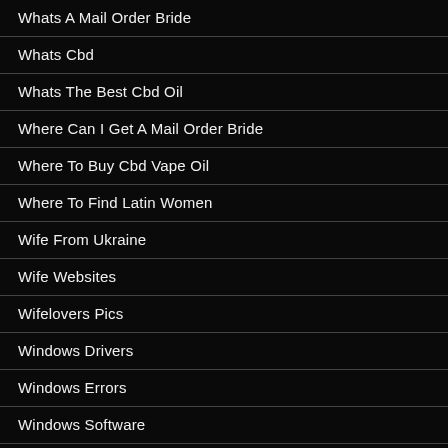Whats A Mail Order Bride
Whats Cbd
Whats The Best Cbd Oil
Where Can I Get A Mail Order Bride
Where To Buy Cbd Vape Oil
Where To Find Latin Women
Wife From Ukraine
Wife Websites
Wifelovers Pics
Windows Drivers
Windows Errors
Windows Software